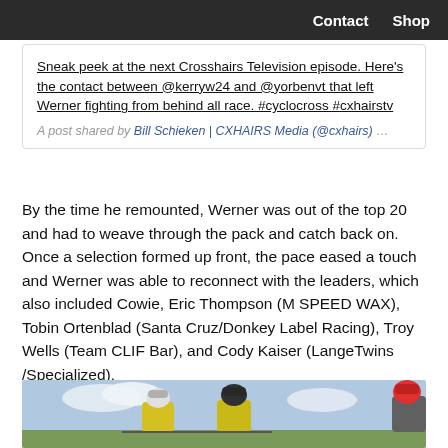Contact  Shop
Sneak peek at the next Crosshairs Television episode. Here's the contact between @kerryw24 and @yorbenvt that left Werner fighting from behind all race. #cyclocross #cxhairstv
A post shared by Bill Schieken | CXHAIRS Media (@cxhairs) ...
By the time he remounted, Werner was out of the top 20 and had to weave through the pack and catch back on. Once a selection formed up front, the pace eased a touch and Werner was able to reconnect with the leaders, which also included Cowie, Eric Thompson (M SPEED WAX), Tobin Ortenblad (Santa Cruz/Donkey Label Racing), Troy Wells (Team CLIF Bar), and Cody Kaiser (LangeTwins /Specialized).
[Figure (photo): Cyclists racing in yellow and black jerseys wearing helmets, outdoors with sky and trees in background.]